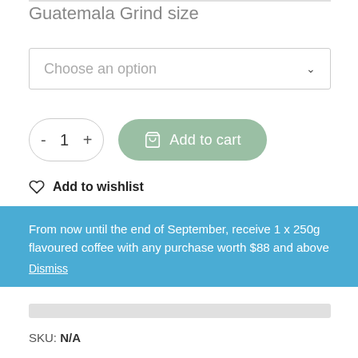Guatemala Grind size
Choose an option
- 1 + Add to cart
Add to wishlist
From now until the end of September, receive 1 x 250g flavoured coffee with any purchase worth $88 and above
Dismiss
SKU: N/A